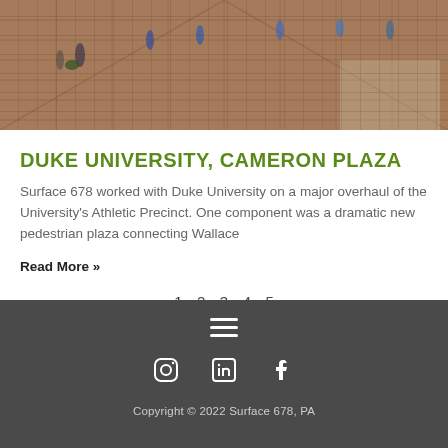[Figure (photo): Overhead/wide view of a brick pedestrian plaza at Duke University with people walking across it, trees and buildings visible in the background]
DUKE UNIVERSITY, CAMERON PLAZA
Surface 678 worked with Duke University on a major overhaul of the University's Athletic Precinct. One component was a dramatic new pedestrian plaza connecting Wallace
Read More »
1 2 3 4 5
Copyright © 2022 Surface 678, PA